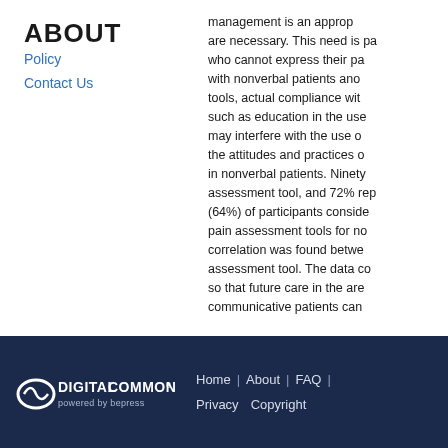ABOUT
Policy
Contact Us
management is an approp... are necessary. This need is pa... who cannot express their pa... with nonverbal patients ano... tools, actual compliance wit... such as education in the use... may interfere with the use o... the attitudes and practices o... in nonverbal patients. Ninety... assessment tool, and 72% rep... (64%) of participants conside... pain assessment tools for no... correlation was found betwe... assessment tool. The data co... so that future care in the are... communicative patients can...
Home | About | FAQ | Privacy Copyright